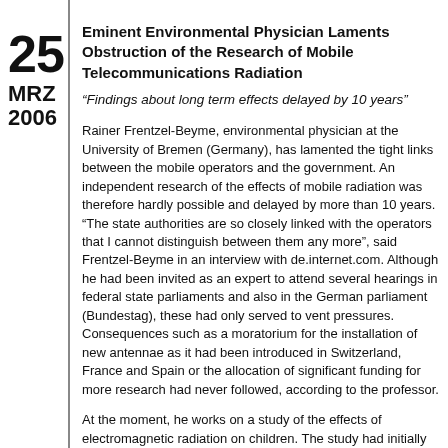25
MRZ
2006
Eminent Environmental Physician Laments Obstruction of the Research of Mobile Telecommunications Radiation
“Findings about long term effects delayed by 10 years”
Rainer Frentzel-Beyme, environmental physician at the University of Bremen (Germany), has lamented the tight links between the mobile operators and the government. An independent research of the effects of mobile radiation was therefore hardly possible and delayed by more than 10 years. “The state authorities are so closely linked with the operators that I cannot distinguish between them any more”, said Frentzel-Beyme in an interview with de.internet.com. Although he had been invited as an expert to attend several hearings in federal state parliaments and also in the German parliament (Bundestag), these had only served to vent pressures. Consequences such as a moratorium for the installation of new antennae as it had been introduced in Switzerland, France and Spain or the allocation of significant funding for more research had never followed, according to the professor.
At the moment, he works on a study of the effects of electromagnetic radiation on children. The study had initially been delayed. “After we had applied for funding for this study, we were told the subject matter was irrelevant according to a survey of other scientists”, said Frentzel-Breyme. Then, the study was commissioned from a different team, which had already previously published findings in favour of the operators. “This really leads to the question how independent sc